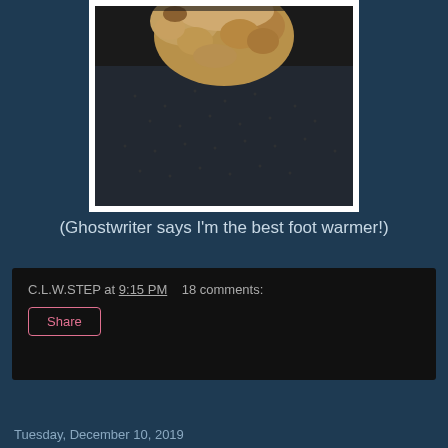[Figure (photo): Close-up photo of a fluffy dog (appears to be a poodle or similar curly-haired breed) resting on or near a person's leg/foot area, wearing dark dotted clothing. The dog's curly fur is visible at the top.]
(Ghostwriter says I'm the best foot warmer!)
C.L.W.STEP at 9:15 PM   18 comments:
Share
Tuesday, December 10, 2019